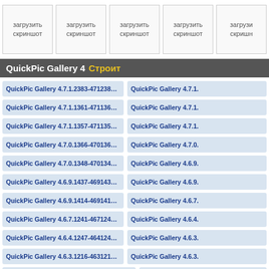[Figure (screenshot): Row of 5 screenshot placeholder boxes each labeled 'загрузить скриншот' (upload screenshot) in Russian]
QuickPic Gallery 4 Строит
QuickPic Gallery 4.7.1.2383-4712383 (armeabi,x86)
QuickPic Gallery 4.7.1 (truncated, right column)
QuickPic Gallery 4.7.1.1361-4711361 (armeabi,x86)
QuickPic Gallery 4.7.1 (truncated, right column)
QuickPic Gallery 4.7.1.1357-4711357 (armeabi,x86)
QuickPic Gallery 4.7.1 (truncated, right column)
QuickPic Gallery 4.7.0.1366-4701366 (armeabi,x86)
QuickPic Gallery 4.7.0 (truncated, right column)
QuickPic Gallery 4.7.0.1348-4701348 (armeabi,x86)
QuickPic Gallery 4.6.9 (truncated, right column)
QuickPic Gallery 4.6.9.1437-4691437 (armeabi,x86)
QuickPic Gallery 4.6.9 (truncated, right column)
QuickPic Gallery 4.6.9.1414-4691414 (armeabi,x86)
QuickPic Gallery 4.6.7 (truncated, right column)
QuickPic Gallery 4.6.7.1241-4671241 (armeabi,x86)
QuickPic Gallery 4.6.4 (truncated, right column)
QuickPic Gallery 4.6.4.1247-4641247 (armeabi,x86)
QuickPic Gallery 4.6.3 (truncated, right column)
QuickPic Gallery 4.6.3.1216-4631216 (armeabi,x86)
QuickPic Gallery 4.6.3 (truncated, right column)
QuickPic Gallery 4.6.2.1180-4621180
QuickPic Gallery 4.6.2.1178-4621178 (truncated)